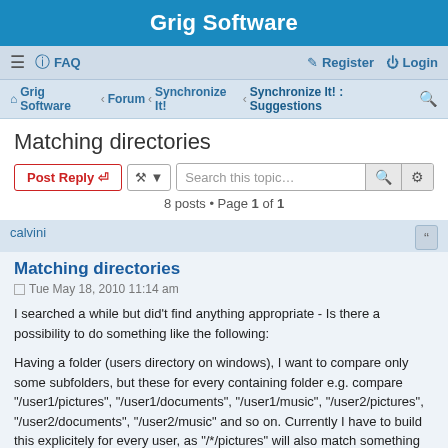Grig Software
≡  FAQ    Register  Login
Grig Software · Forum · Synchronize It! · Synchronize It! : Suggestions
Matching directories
Post Reply   [tools]   Search this topic…   8 posts • Page 1 of 1
calvini
Matching directories
Tue May 18, 2010 11:14 am
I searched a while but did't find anything appropriate - Is there a possibility to do something like the following:
Having a folder (users directory on windows), I want to compare only some subfolders, but these for every containing folder e.g. compare "/user1/pictures", "/user1/documents", "/user1/music", "/user2/pictures", "/user2/documents", "/user2/music" and so on. Currently I have to build this explicitely for every user, as "/*/pictures" will also match something